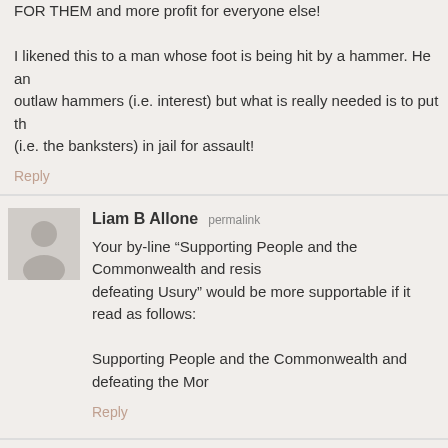FOR THEM and more profit for everyone else!
I likened this to a man whose foot is being hit by a hammer. He an outlaw hammers (i.e. interest) but what is really needed is to put th (i.e. the banksters) in jail for assault!
Reply
Liam B Allone permalink
Your by-line “Supporting People and the Commonwealth and resis defeating Usury” would be more supportable if it read as follows:
Supporting People and the Commonwealth and defeating the Mor
Reply
Corey permalink
Lay off the “Jew” and “feminism” bashing. It undermines all your va reeks of right-wing bigotry.
Reply